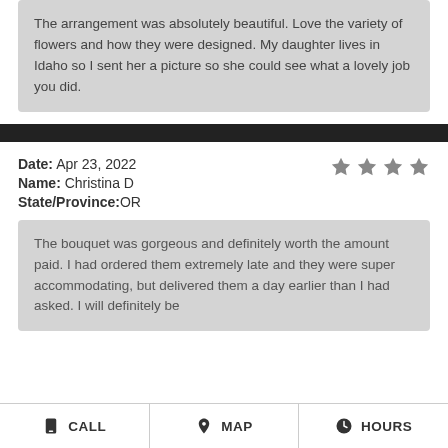The arrangement was absolutely beautiful. Love the variety of flowers and how they were designed. My daughter lives in Idaho so I sent her a picture so she could see what a lovely job you did.
Date: Apr 23, 2022
Name: Christina D
State/Province:OR
The bouquet was gorgeous and definitely worth the amount paid. I had ordered them extremely late and they were super accommodating, but delivered them a day earlier than I had asked. I will definitely be
CALL   MAP   HOURS